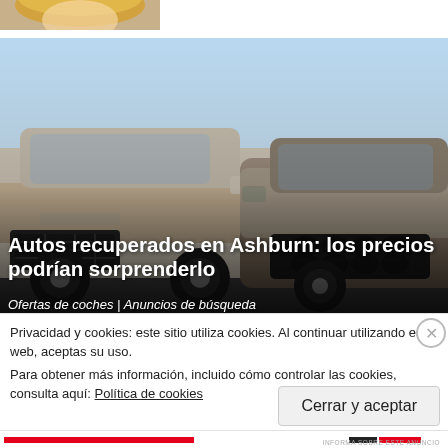[Figure (photo): Partial photo of a person (blonde hair visible) at the top left corner]
[Figure (photo): Photo of two dusty Range Rover SUVs parked in a lot under a blue sky]
Autos recuperados en Ashburn: los precios podrían sorprenderlo
Ofertas de coches | Anuncios de búsqueda
Privacidad y cookies: este sitio utiliza cookies. Al continuar utilizando esta web, aceptas su uso.
Para obtener más información, incluido cómo controlar las cookies, consulta aquí: Política de cookies
Cerrar y aceptar
INFORMA SOBRE ESTE ANUNCIO